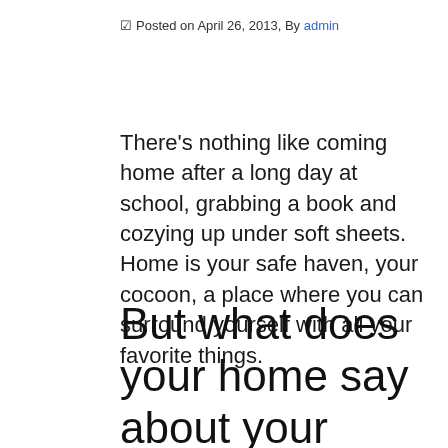☑ Posted on April 26, 2013, By admin
There's nothing like coming home after a long day at school, grabbing a book and cozying up under soft sheets. Home is your safe haven, your cocoon, a place where you can surround yourself with all your favorite things.
But what does your home say about your relationship to the planet?